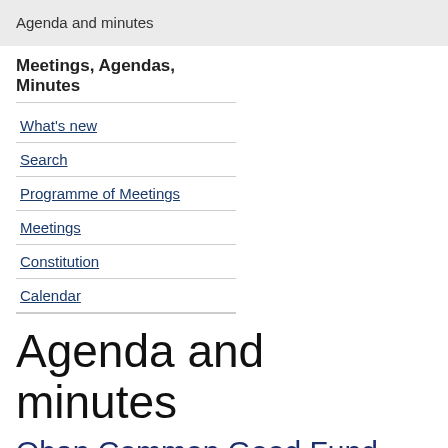Agenda and minutes
Meetings, Agendas, Minutes
What's new
Search
Programme of Meetings
Meetings
Constitution
Calendar
Agenda and minutes
Oban Common Good Fund - Wednesday, 29 May 2013